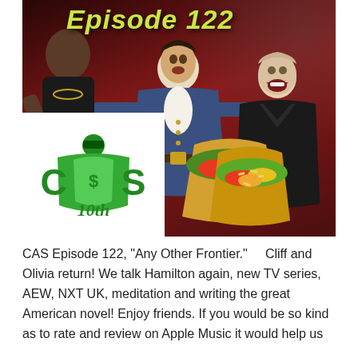[Figure (photo): Podcast thumbnail showing 'Episode 122' in yellow-green italic text on a dark red background. Center: a man in Hamilton colonial costume with arms outstretched. Left side: a man holding a microphone with an AEW logo badge. Right side: a laughing person in a dark jacket. Bottom center: tacos. Bottom left: CAS 10th anniversary logo (green text on white background) showing 'CAS' with a caped figure icon and '10th' in italic.]
CAS Episode 122, “Any Other Frontier.”     Cliff and Olivia return! We talk Hamilton again, new TV series, AEW, NXT UK, meditation and writing the great American novel! Enjoy friends. If you would be so kind as to rate and review on Apple Music it would help us